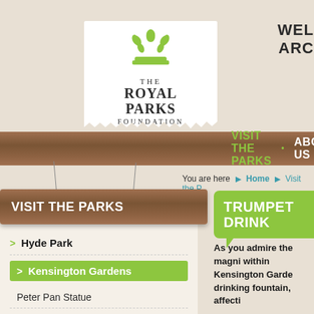[Figure (logo): The Royal Parks Foundation logo — green crown made of leaves above text THE ROYAL PARKS FOUNDATION on white torn-paper background]
WEL ARC
[Figure (illustration): Wooden navigation bar with VISIT THE PARKS • ABOUT US • SU navigation items]
You are here ▶ Home ▶ Visit the P
VISIT THE PARKS
TRUMPET DRINK
> Hyde Park
> Kensington Gardens
Peter Pan Statue
Diana Memorial Playground
Italian Gardens restoration
Trumpet Drinking Fountain
As you admire the magni within Kensington Garde drinking fountain, affecti